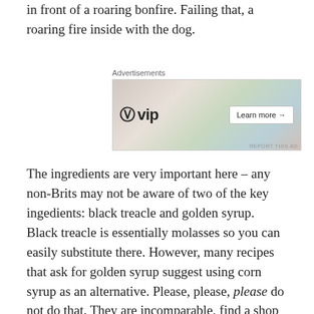in front of a roaring bonfire. Failing that, a roaring fire inside with the dog.
[Figure (other): WordPress VIP advertisement banner with colorful background showing social media brand images and a 'Learn more →' button]
The ingredients are very important here – any non-Brits may not be aware of two of the key ingedients: black treacle and golden syrup. Black treacle is essentially molasses so you can easily substitute there. However, many recipes that ask for golden syrup suggest using corn syrup as an alternative. Please, please, please do not do that. They are incomparable, find a shop with a British 'aisle' and get the real thing. Accept no substitute. The history of Lyle's Golden Syrup is an interesting one and I shall tackle that in another post soon, along with some more golden syrup-based recipes. The recipe calls for